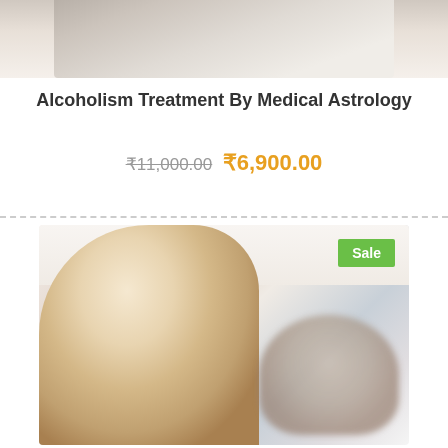[Figure (photo): Partial view of a person in white, cropped at top, suggesting a doctor or patient consultation scene]
Alcoholism Treatment By Medical Astrology
₹11,000.00 ₹6,900.00
[Figure (photo): A sad young blonde woman lying on a bed resting her chin on her hand, with a man sleeping in the background. A green 'Sale' badge is in the top right corner of the image.]